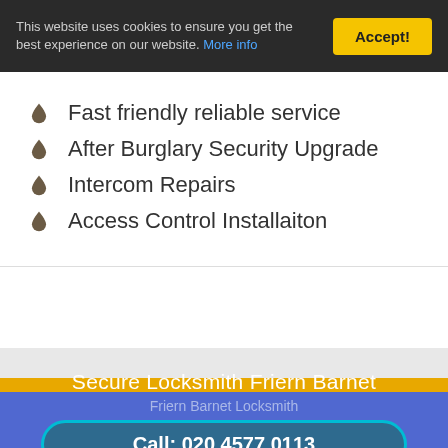This website uses cookies to ensure you get the best experience on our website. More info
Fast friendly reliable service
After Burglary Security Upgrade
Intercom Repairs
Access Control Installaiton
Secure Locksmith Friern Barnet
Friern Barnet Locksmith
Call: 020 4577 0113